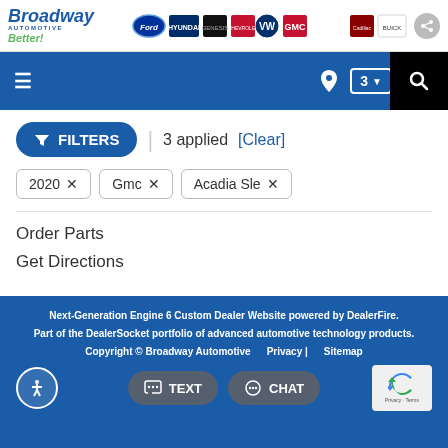[Figure (logo): Broadway Automotive Better! logo with Ford, Hyundai, Genesis, Chevrolet, Volkswagen, GMC, Cadillac, Buick brand logos and share button]
[Figure (screenshot): Navigation bar with hamburger menu, location pin icon, '3' dropdown badge, phone icon, and search box]
FILTERS | 3 applied [Clear]
2020 × Gmc × Acadia Sle ×
Order Parts
Get Directions
Next-Generation Engine 6 Custom Dealer Website powered by DealerFire. Part of the DealerSocket portfolio of advanced automotive technology products. Copyright © Broadway Automotive  Privacy | Sitemap